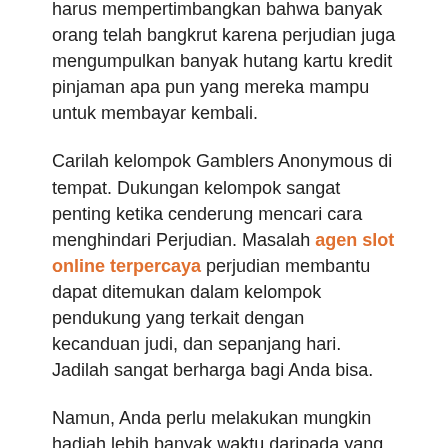harus mempertimbangkan bahwa banyak orang telah bangkrut karena perjudian juga mengumpulkan banyak hutang kartu kredit pinjaman apa pun yang mereka mampu untuk membayar kembali.
Carilah kelompok Gamblers Anonymous di tempat. Dukungan kelompok sangat penting ketika cenderung mencari cara menghindari Perjudian. Masalah agen slot online terpercaya perjudian membantu dapat ditemukan dalam kelompok pendukung yang terkait dengan kecanduan judi, dan sepanjang hari. Jadilah sangat berharga bagi Anda bisa.
Namun, Anda perlu melakukan mungkin hadiah lebih banyak waktu daripada yang Anda sadari, hanya dengan membiarkan banyak gangguan dan tidak mengambil kendali proaktif waktu. Mungkin meninggalkan lebih banyak kesempatan daripada pilihan.